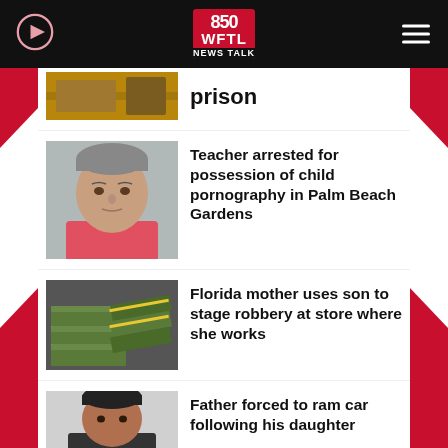850 WFTL NEWS TALK
prison
[Figure (photo): Mugshot of middle-aged man with gray hair wearing pink shirt]
Teacher arrested for possession of child pornography in Palm Beach Gardens
[Figure (photo): Stacks of bundled US dollar bills]
Florida mother uses son to stage robbery at store where she works
[Figure (photo): Mugshot of young man with dark hair]
Father forced to ram car following his daughter